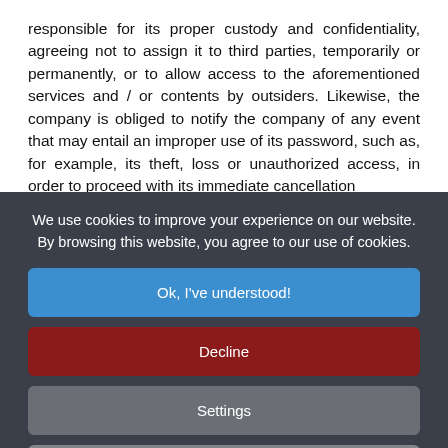responsible for its proper custody and confidentiality, agreeing not to assign it to third parties, temporarily or permanently, or to allow access to the aforementioned services and / or contents by outsiders. Likewise, the company is obliged to notify the company of any event that may entail an improper use of its password, such as, for example, its theft, loss or unauthorized access, in order to proceed with its immediate cancellation
We use cookies to improve your experience on our website. By browsing this website, you agree to our use of cookies.
Ok, I've understood!
Decline
Settings
More Info